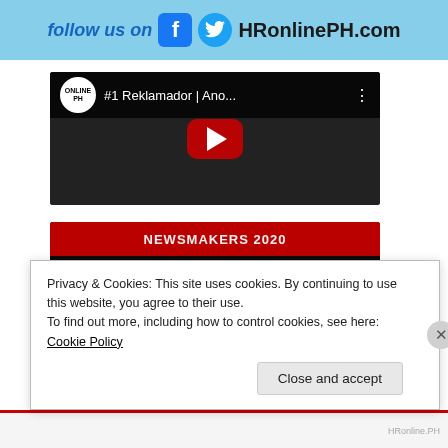[Figure (screenshot): Banner with 'follow us on' text, Facebook icon, Twitter icon, and 'HRonlinePH.com' text on light blue background]
[Figure (screenshot): YouTube video thumbnail showing '#1 Reklamador | Ano...' with HRonlinePH logo and red play button]
[Figure (screenshot): YouTube video thumbnail showing 'TOTROPAHIN O JOJ...' with NEWSMAKERS 2020 header and HRonlinePH logo]
Privacy & Cookies: This site uses cookies. By continuing to use this website, you agree to their use.
To find out more, including how to control cookies, see here: Cookie Policy
Close and accept